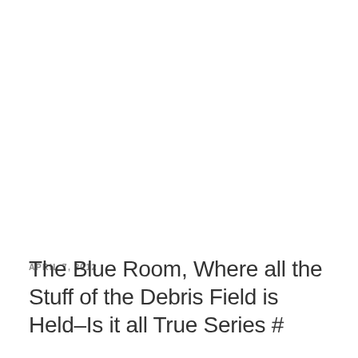APRIL 7, 2012
The Blue Room, Where all the Stuff of the Debris Field is Held–Is it all True Series #